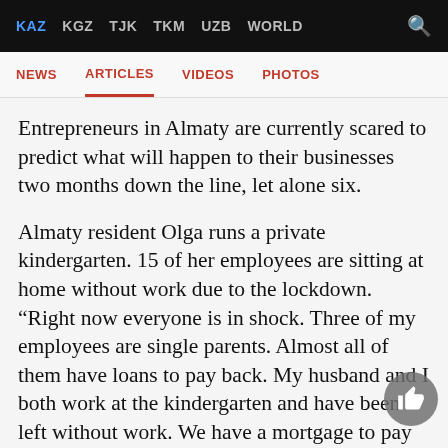KAZ  KGZ  TJK  TKM  UZB  WORLD
NEWS  ARTICLES  VIDEOS  PHOTOS
Entrepreneurs in Almaty are currently scared to predict what will happen to their businesses two months down the line, let alone six.
Almaty resident Olga runs a private kindergarten. 15 of her employees are sitting at home without work due to the lockdown. “Right now everyone is in shock. Three of my employees are single parents. Almost all of them have loans to pay back. My husband and I both work at the kindergarten and have been left without work. We have a mortgage to pay and three kids, plus we have to pay rent for the kindergarten premises. So far they (the